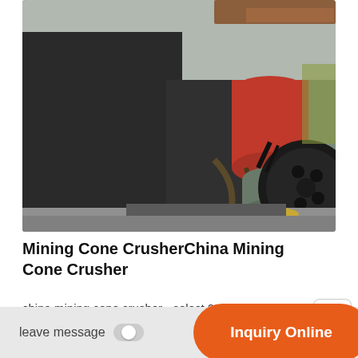[Figure (photo): Close-up photo of a mining cone crusher machine showing a red cylindrical component, hydraulic hoses, a large black pulley/belt wheel, and industrial metal parts on a concrete surface outdoors.]
Mining Cone CrusherChina Mining Cone Crusher
china mining cone crusher - select 2021 mining cone crusher products from verified china mining cone crusher manufacturers, suppliers and...
leave message
Inquiry Online